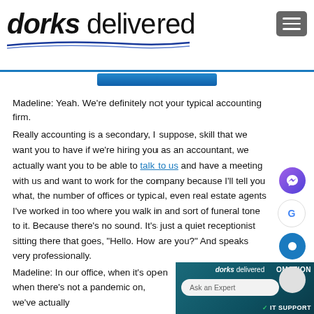dorks delivered
Madeline: Yeah. We're definitely not your typical accounting firm.
Really accounting is a secondary, I suppose, skill that we want you to have if we're hiring you as an accountant, we actually want you to be able to talk to us and have a meeting with us and want to work for the company because I'll tell you what, the number of offices or typical, even real estate agents I've worked in too where you walk in and sort of funeral tone to it. Because there's no sound. It's just a quiet receptionist sitting there that goes, "Hello. How are you?" And speaks very professionally.
Madeline: In our office, when it's open when there's not a pandemic on, we've actually
[Figure (screenshot): Dorks Delivered website widget with Ask an Expert chat box, showing IT SUPPORT and OMATION text over teal background]